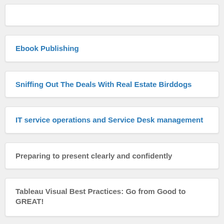Ebook Publishing
Sniffing Out The Deals With Real Estate Birddogs
IT service operations and Service Desk management
Preparing to present clearly and confidently
Tableau Visual Best Practices: Go from Good to GREAT!